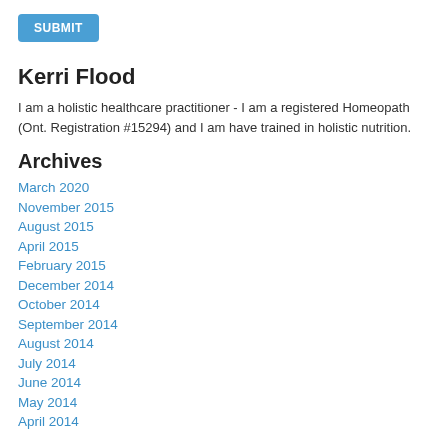[Figure (other): Blue SUBMIT button]
Kerri Flood
I am a holistic healthcare practitioner - I am a registered Homeopath (Ont. Registration #15294) and I am have trained in holistic nutrition.
Archives
March 2020
November 2015
August 2015
April 2015
February 2015
December 2014
October 2014
September 2014
August 2014
July 2014
June 2014
May 2014
April 2014